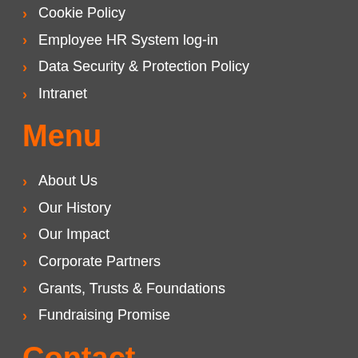Cookie Policy
Employee HR System log-in
Data Security & Protection Policy
Intranet
Menu
About Us
Our History
Our Impact
Corporate Partners
Grants, Trusts & Foundations
Fundraising Promise
Contact